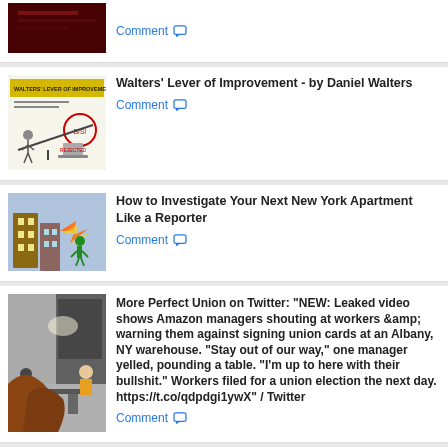[Figure (screenshot): Dark reddish screenshot thumbnail, partial view of first article]
Comment
[Figure (illustration): Walters' Lever of Improvement illustration with cartoon figures]
Walters' Lever of Improvement - by Daniel Walters
Comment
[Figure (photo): How to Investigate Your Next New York Apartment Like a Reporter]
How to Investigate Your Next New York Apartment Like a Reporter
Comment
[Figure (photo): More Perfect Union on Twitter - interior photo]
More Perfect Union on Twitter: "NEW: Leaked video shows Amazon managers shouting at workers &amp; warning them against signing union cards at an Albany, NY warehouse. "Stay out of our way," one manager yelled, pounding a table. "I'm up to here with their bullshit." Workers filed for a union election the next day. https://t.co/qdpdgi1ywX" / Twitter
Comment
[Figure (screenshot): GitHub - ucan-wg/spec thumbnail]
GitHub - ucan-wg/spec: User Controlled Authorization Network (UCAN) Specification
Comment